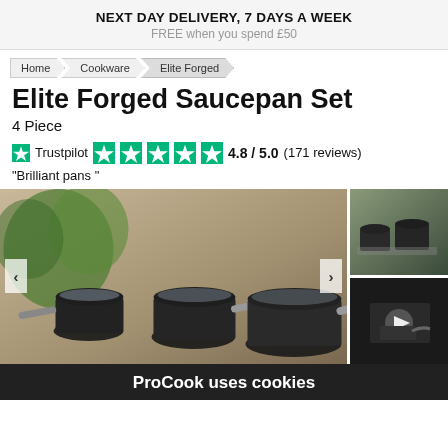NEXT DAY DELIVERY, 7 DAYS A WEEK
FREE when you spend £50
Home
Cookware
Elite Forged
Elite Forged Saucepan Set
4 Piece
Trustpilot 4.8 / 5.0 (171 reviews)
"Brilliant pans "
[Figure (photo): Main product photo: Elite Forged saucepan set with glass lids on a kitchen surface with green herbs in the background. Navigation arrows visible on left and right.]
[Figure (photo): Side thumbnail: saucepans stacked on a kitchen counter]
[Figure (photo): Side thumbnail: dark video thumbnail of saucepan with play button]
ProCook uses cookies